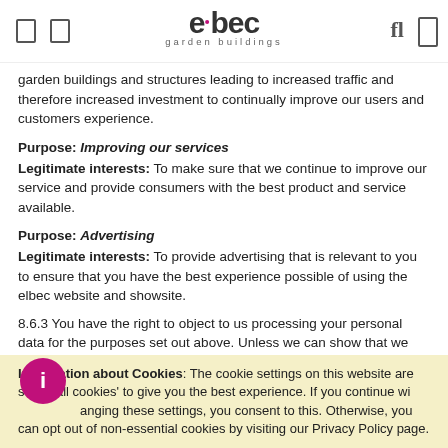elbec garden buildings
garden buildings and structures leading to increased traffic and therefore increased investment to continually improve our users and customers experience.
Purpose: Improving our services
Legitimate interests: To make sure that we continue to improve our service and provide consumers with the best product and service available.
Purpose: Advertising
Legitimate interests: To provide advertising that is relevant to you to ensure that you have the best experience possible of using the elbec website and showsite.
8.6.3 You have the right to object to us processing your personal data for the purposes set out above. Unless we can show that we have a compelling legitimate reason to continue processing your personal data, we will stop processing it.
8.6.4 All incoming and outgoing telephone calls are recorded f...
Information about Cookies: The cookie settings on this website are set to 'allow all cookies' to give you the best experience. If you continue without changing these settings, you consent to this. Otherwise, you can opt out of non-essential cookies by visiting our Privacy Policy page.